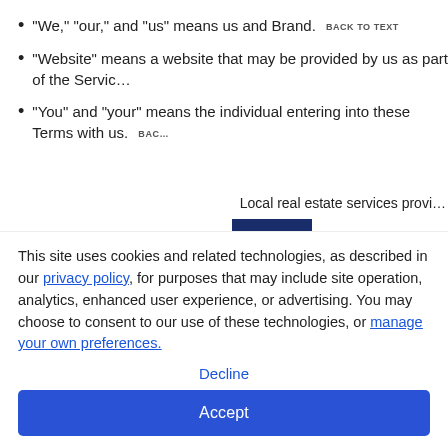"We," "our," and "us" means us and Brand. BACK TO TEXT
"Website" means a website that may be provided by us as part of the Servic…
"You" and "your" means the individual entering into these Terms with us. BAC…
[Figure (logo): Coldwell Banker Prestige Realty logo with dark blue CB monogram in a square box and brand text]
Local real estate services provi…
This site uses cookies and related technologies, as described in our privacy policy, for purposes that may include site operation, analytics, enhanced user experience, or advertising. You may choose to consent to our use of these technologies, or manage your own preferences.
Decline
Accept